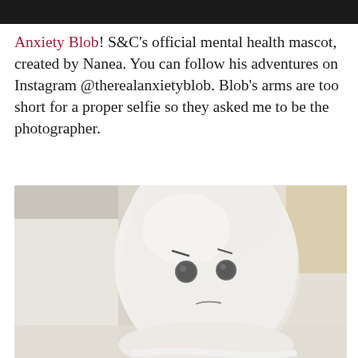[Figure (photo): Dark top strip, cropped bottom of a previous photo]
Anxiety Blob! S&C's official mental health mascot, created by Nanea. You can follow his adventures on Instagram @therealanxietyblob. Blob's arms are too short for a proper selfie so they asked me to be the photographer.
[Figure (photo): Close-up photograph of the Anxiety Blob plush toy — a white, rounded, ghost-like stuffed animal with small dark button eyes and a worried expression, sitting on a light-colored surface]